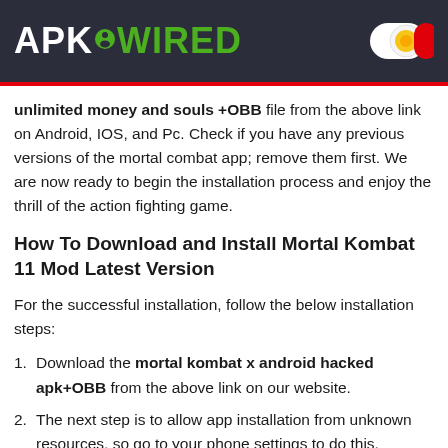APK WIRED
unlimited money and souls +OBB file from the above link on Android, IOS, and Pc. Check if you have any previous versions of the mortal combat app; remove them first. We are now ready to begin the installation process and enjoy the thrill of the action fighting game.
How To Download and Install Mortal Kombat 11 Mod Latest Version
For the successful installation, follow the below installation steps:
Download the mortal kombat x android hacked apk+OBB from the above link on our website.
The next step is to allow app installation from unknown resources, so go to your phone settings to do this.